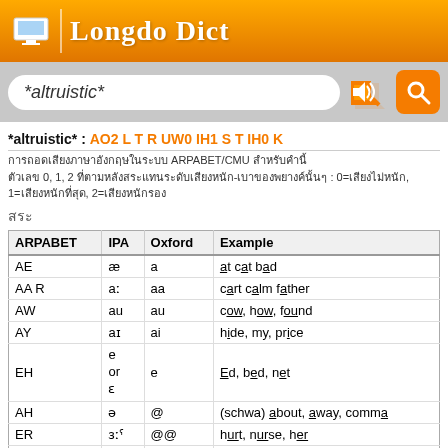Longdo Dict
*altruistic*
*altruistic* : AO2 L T R UW0 IH1 S T IH0 K
การถอดเสียงภาษาอังกฤษในระบบ ARPABET/CMU สำหรับคำนี้
ตัวเลข 0, 1, 2 ที่ตามหลังสระแทนระดับเสียงหนัก-เบาของพยางค์นั้นๆ : 0=เสียงไม่หนัก, 1=เสียงหนักที่สุด, 2=เสียงหนักรอง
สระ
| ARPABET | IPA | Oxford | Example |
| --- | --- | --- | --- |
| AE | æ | a | at cat bad |
| AA R | aː | aa | cart calm father |
| AW | au | au | cow, how, found |
| AY | aɪ | ai | hide, my, price |
| EH | e
or
ɛ | e | Ed, bed, net |
| AH | ə | @ | (schwa) about, away, comma |
| ER | ɜːˤ | @@ | hurt, nurse, her |
| EY | ɛɪ | ei | date, fate, day |
| IH | ɪ | i | it, sit, bit |